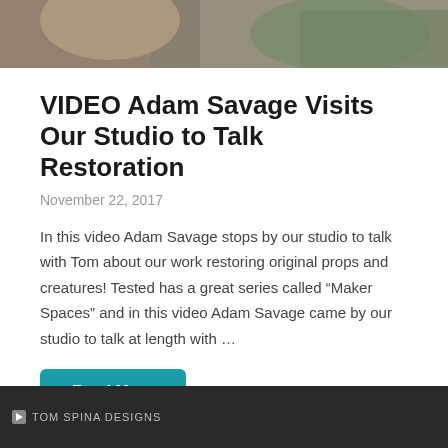[Figure (photo): Top portion of a photo showing people, partially cropped at top of page]
VIDEO Adam Savage Visits Our Studio to Talk Restoration
November 22, 2017
In this video Adam Savage stops by our studio to talk with Tom about our work restoring original props and creatures! Tested has a great series called “Maker Spaces” and in this video Adam Savage came by our studio to talk at length with …
Read More
[Figure (screenshot): Bottom portion of a dark-background image showing 'TOM SPINA DESIGNS' text with a logo icon, partially cropped at bottom of page]